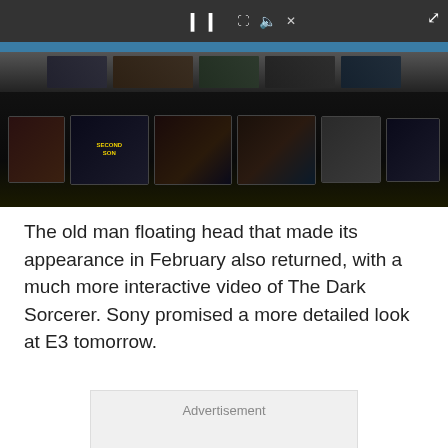[Figure (screenshot): Video player controls bar (dark gray background) with pause button, seek/volume controls, and fullscreen icon at top right.]
[Figure (photo): Photo of a curved display installation showing multiple screens arranged in an arc. Several screens show video footage, one shows 'Second Son' game title in yellow text. The setup is in a dark exhibition hall environment.]
The old man floating head that made its appearance in February also returned, with a much more interactive video of The Dark Sorcerer. Sony promised a more detailed look at E3 tomorrow.
Advertisement